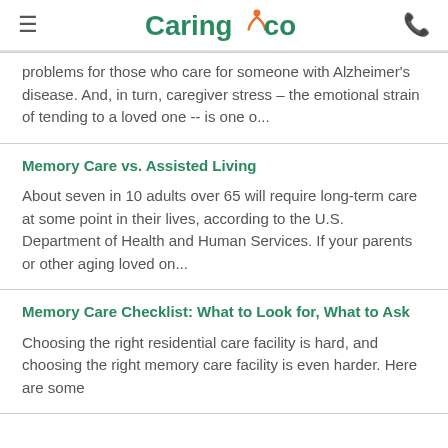Caring.com
problems for those who care for someone with Alzheimer's disease. And, in turn, caregiver stress – the emotional strain of tending to a loved one -- is one o...
Memory Care vs. Assisted Living
About seven in 10 adults over 65 will require long-term care at some point in their lives, according to the U.S. Department of Health and Human Services. If your parents or other aging loved on...
Memory Care Checklist: What to Look for, What to Ask
Choosing the right residential care facility is hard, and choosing the right memory care facility is even harder. Here are some...